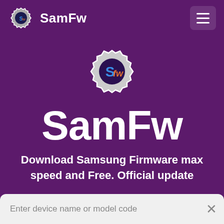SamFw
[Figure (logo): SamFw gear logo with S and fw letters in blue and orange, centered on page]
SamFw
Download Samsung Firmware max speed and Free. Official update
Enter device name or model code